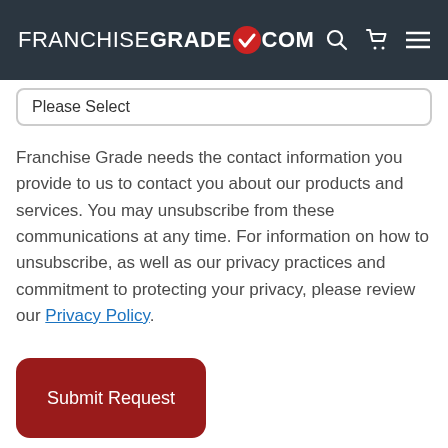FRANCHISEGRADE✓COM
Please Select
Franchise Grade needs the contact information you provide to us to contact you about our products and services. You may unsubscribe from these communications at any time. For information on how to unsubscribe, as well as our privacy practices and commitment to protecting your privacy, please review our Privacy Policy.
Submit Request